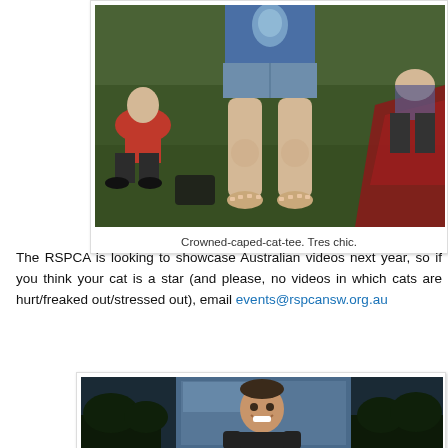[Figure (photo): A person standing barefoot on grass wearing a blue cat t-shirt and denim shorts, with other people sitting on the grass in the background]
Crowned-caped-cat-tee. Tres chic.
The RSPCA is looking to showcase Australian videos next year, so if you think your cat is a star (and please, no videos in which cats are hurt/freaked out/stressed out), email events@rspcansw.org.au
[Figure (photo): A smiling man standing in front of a large outdoor screen at a nighttime event]